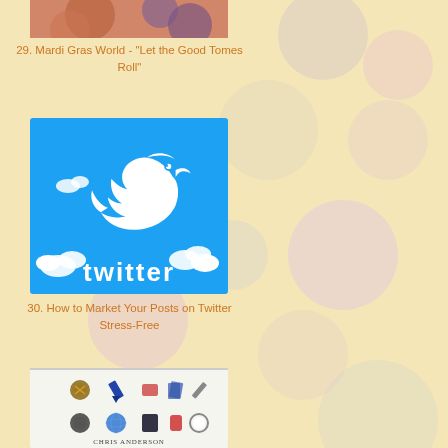[Figure (photo): Partial photo of yarn/craft items, cropped at top]
29. Mardi Gras World - "Let the Good Tomes Roll"
[Figure (logo): Twitter logo on blue background with white bird and clouds, 'twitter' text in white]
30. How to Market Your Posts on Twitter Stress-Free
[Figure (photo): Book cover with icons/tools and 'Chris Anderson' author name, partially visible]